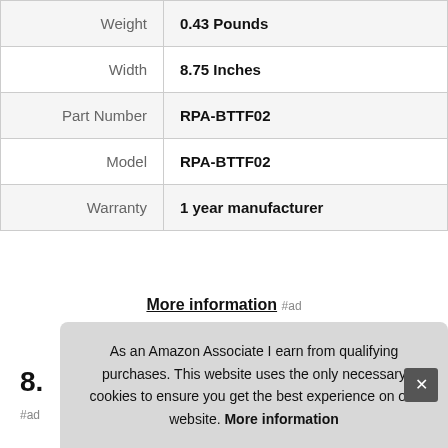| Attribute | Value |
| --- | --- |
| Weight | 0.43 Pounds |
| Width | 8.75 Inches |
| Part Number | RPA-BTTF02 |
| Model | RPA-BTTF02 |
| Warranty | 1 year manufacturer |
More information #ad
8.
As an Amazon Associate I earn from qualifying purchases. This website uses the only necessary cookies to ensure you get the best experience on our website. More information